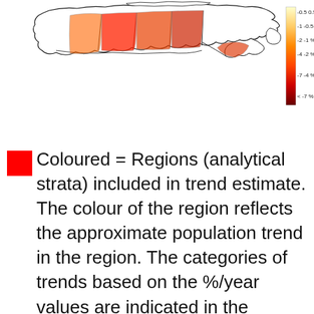[Figure (map): Map of Canada showing coloured regions (analytical strata) with a colour gradient legend on the right indicating population trend categories from yellow (0.5-0.5%) through orange shades to dark red (<-7%). The map shows various regions coloured to reflect approximate population trends.]
Coloured = Regions (analytical strata) included in trend estimate. The colour of the region reflects the approximate population trend in the region. The categories of trends based on the %/year values are indicated in the legend on the right, and the specific values can be found by searching on the analytical stratum trends for the same time-period and species.